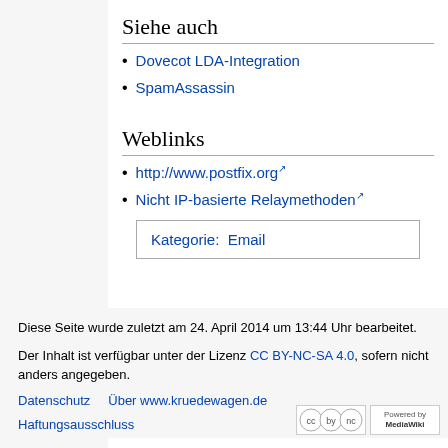Siehe auch
Dovecot LDA-Integration
SpamAssassin
Weblinks
http://www.postfix.org
Nicht IP-basierte Relaymethoden
Kategorie:  Email
Diese Seite wurde zuletzt am 24. April 2014 um 13:44 Uhr bearbeitet.
Der Inhalt ist verfügbar unter der Lizenz CC BY-NC-SA 4.0, sofern nicht anders angegeben.
Datenschutz    Über www.kruedewagen.de
Haftungsausschluss